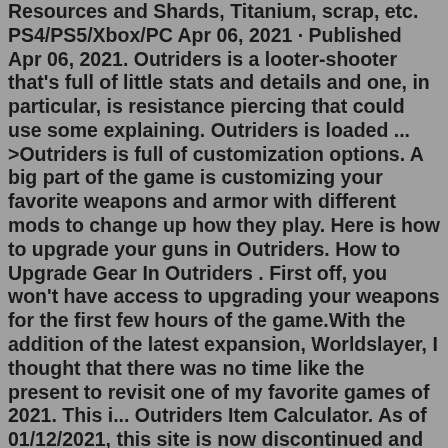Resources and Shards, Titanium, scrap, etc. PS4/PS5/Xbox/PC Apr 06, 2021 · Published Apr 06, 2021. Outriders is a looter-shooter that's full of little stats and details and one, in particular, is resistance piercing that could use some explaining. Outriders is loaded ... >Outriders is full of customization options. A big part of the game is customizing your favorite weapons and armor with different mods to change up how they play. Here is how to upgrade your guns in Outriders. How to Upgrade Gear In Outriders . First off, you won't have access to upgrading your weapons for the first few hours of the game.With the addition of the latest expansion, Worldslayer, I thought that there was no time like the present to revisit one of my favorite games of 2021. This i... Outriders Item Calculator. As of 01/12/2021, this site is now discontinued and will no longer be developed and at some point in the future, it will be removed. The reason being is, there is another site out there that is better in every aspect. Instead of this site, please use https://outriders.app instead. Apr 12, 2021 ·